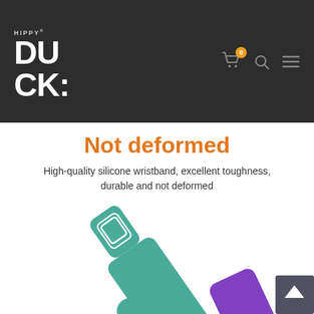Hippy DUCK
Not deformed
High-quality silicone wristband, excellent toughness, durable and not deformed
[Figure (photo): Teal/green silicone wristband with buckle clasp and holes, shown alongside a purple silicone wristband, demonstrating flexibility and shape retention.]